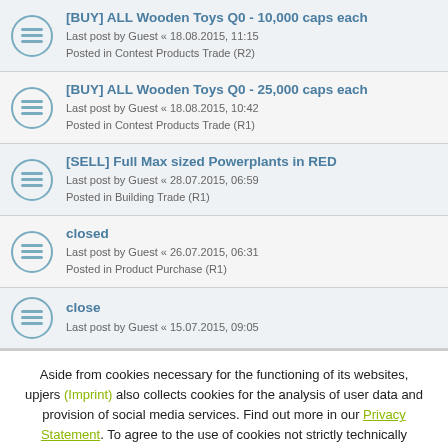[BUY] ALL Wooden Toys Q0 - 10,000 caps each
Last post by Guest « 18.08.2015, 11:15
Posted in Contest Products Trade (R2)
[BUY] ALL Wooden Toys Q0 - 25,000 caps each
Last post by Guest « 18.08.2015, 10:42
Posted in Contest Products Trade (R1)
[SELL] Full Max sized Powerplants in RED
Last post by Guest « 28.07.2015, 06:59
Posted in Building Trade (R1)
closed
Last post by Guest « 26.07.2015, 06:31
Posted in Product Purchase (R1)
close
Last post by Guest « 15.07.2015, 09:05
Aside from cookies necessary for the functioning of its websites, upjers (Imprint) also collects cookies for the analysis of user data and provision of social media services. Find out more in our Privacy Statement. To agree to the use of cookies not strictly technically necessary, please hit the "Accept" button. To refuse cookies that are not strictly technically necessary, select the "Options" panel. You can change your cookie settings at any time with the "Cookies" button in the toolbar.